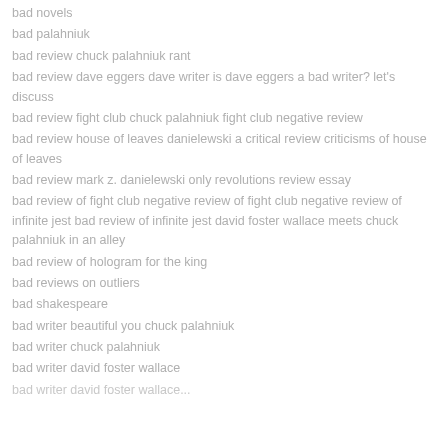bad novels
bad palahniuk
bad review chuck palahniuk rant
bad review dave eggers dave writer is dave eggers a bad writer? let's discuss
bad review fight club chuck palahniuk fight club negative review
bad review house of leaves danielewski a critical review criticisms of house of leaves
bad review mark z. danielewski only revolutions review essay
bad review of fight club negative review of fight club negative review of infinite jest bad review of infinite jest david foster wallace meets chuck palahniuk in an alley
bad review of hologram for the king
bad reviews on outliers
bad shakespeare
bad writer beautiful you chuck palahniuk
bad writer chuck palahniuk
bad writer david foster wallace
bad writer david foster wallace...